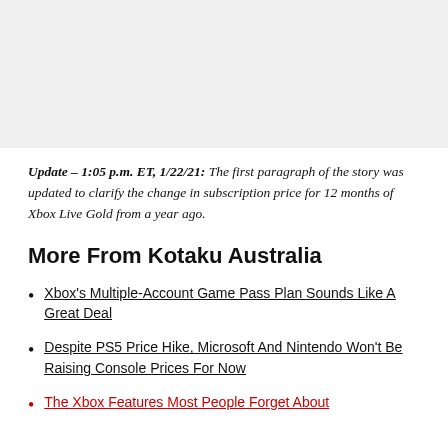[Figure (other): Gray background image area at top of page]
Update – 1:05 p.m. ET, 1/22/21: The first paragraph of the story was updated to clarify the change in subscription price for 12 months of Xbox Live Gold from a year ago.
More From Kotaku Australia
Xbox's Multiple-Account Game Pass Plan Sounds Like A Great Deal
Despite PS5 Price Hike, Microsoft And Nintendo Won't Be Raising Console Prices For Now
The Xbox Features Most People Forget About